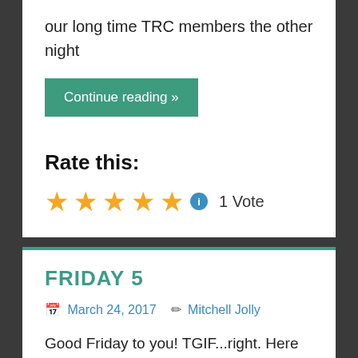our long time TRC members the other night
Continue reading »
Rate this:
★★★★★ ℹ 1 Vote
FRIDAY 5
March 24, 2017  Mitchell Jolly
Good Friday to you! TGIF...right. Here are my 5 observations for the week. Some perhaps more useful than others to you. Some or maybe all